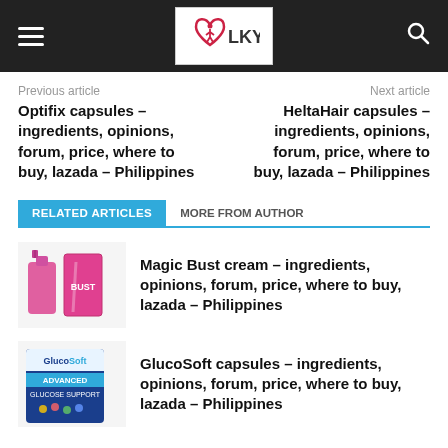LKY - navigation bar with logo, hamburger menu, search icon
Previous article
Next article
Optifix capsules – ingredients, opinions, forum, price, where to buy, lazada – Philippines
HeltaHair capsules – ingredients, opinions, forum, price, where to buy, lazada – Philippines
RELATED ARTICLES   MORE FROM AUTHOR
[Figure (photo): Pink Magic Bust cream bottle and pink rectangular box with BUST label]
Magic Bust cream – ingredients, opinions, forum, price, where to buy, lazada – Philippines
[Figure (photo): GlucoSoft Advanced glucose support product box]
GlucoSoft capsules – ingredients, opinions, forum, price, where to buy, lazada – Philippines